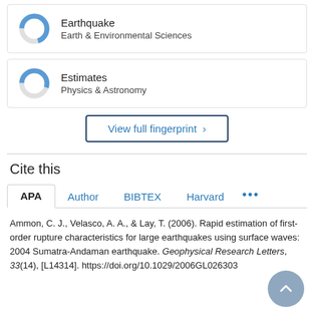[Figure (donut-chart): Partial donut chart for Earthquake / Earth & Environmental Sciences topic badge]
Earthquake
Earth & Environmental Sciences
[Figure (donut-chart): Partial donut chart for Estimates / Physics & Astronomy topic badge]
Estimates
Physics & Astronomy
View full fingerprint >
Cite this
APA
Author
BIBTEX
Harvard
...
Ammon, C. J., Velasco, A. A., & Lay, T. (2006). Rapid estimation of first-order rupture characteristics for large earthquakes using surface waves: 2004 Sumatra-Andaman earthquake. Geophysical Research Letters, 33(14), [L14314]. https://doi.org/10.1029/2006GL026303